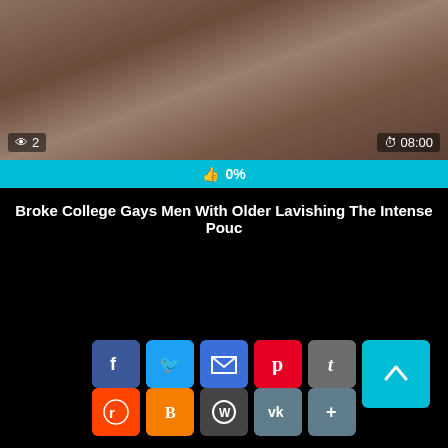[Figure (photo): Video thumbnail showing two men, one with tattoos, in an intimate scene. Overlay shows view count of 2 and duration 08:00. Below thumbnail is a cyan like bar showing 0%.]
Broke College Gays Men With Older Lavishing The Intense Pouc
[Figure (infographic): Two rows of social sharing buttons: Facebook, Twitter, Email, Pinterest, Tumblr (top row); Reddit, Blogger, WordPress, VK, More (bottom row). Scroll-to-top button on the right.]